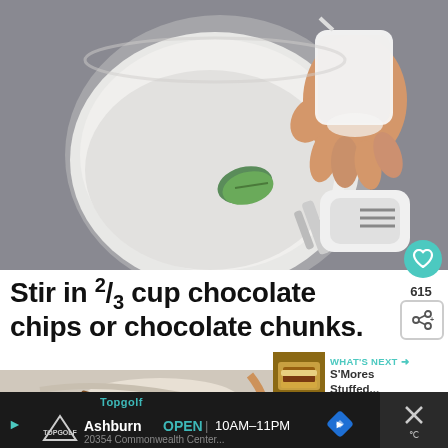[Figure (photo): Overhead view of a hand holding a measuring cup pouring white powder into a white mixing bowl on a gray surface, with an electric hand mixer nearby and a green herb leaf visible in the bowl.]
Stir in ⅔ cup chocolate chips or chocolate chunks.
[Figure (photo): Close-up of mixing bowl with white batter and chocolate pieces being mixed.]
[Figure (photo): What's Next thumbnail showing S'Mores Stuffed item.]
[Figure (screenshot): Advertisement bar for Topgolf Ashburn showing OPEN 10AM-11PM with logo and navigation elements.]